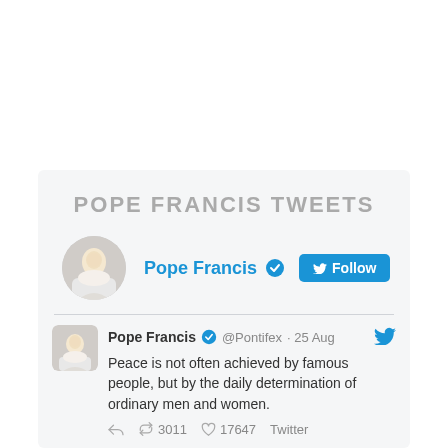POPE FRANCIS TWEETS
Pope Francis @Pontifex · 25 Aug
Peace is not often achieved by famous people, but by the daily determination of ordinary men and women.
3011  17647  Twitter